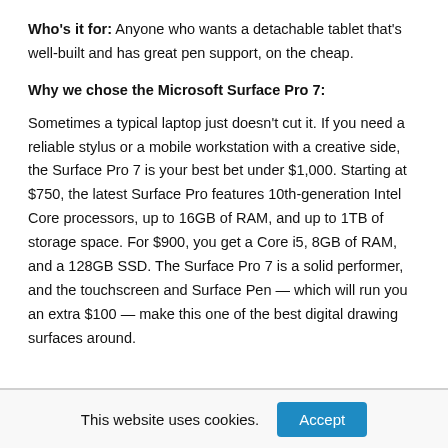Who's it for: Anyone who wants a detachable tablet that's well-built and has great pen support, on the cheap.
Why we chose the Microsoft Surface Pro 7:
Sometimes a typical laptop just doesn't cut it. If you need a reliable stylus or a mobile workstation with a creative side, the Surface Pro 7 is your best bet under $1,000. Starting at $750, the latest Surface Pro features 10th-generation Intel Core processors, up to 16GB of RAM, and up to 1TB of storage space. For $900, you get a Core i5, 8GB of RAM, and a 128GB SSD. The Surface Pro 7 is a solid performer, and the touchscreen and Surface Pen — which will run you an extra $100 — make this one of the best digital drawing surfaces around.
This website uses cookies.